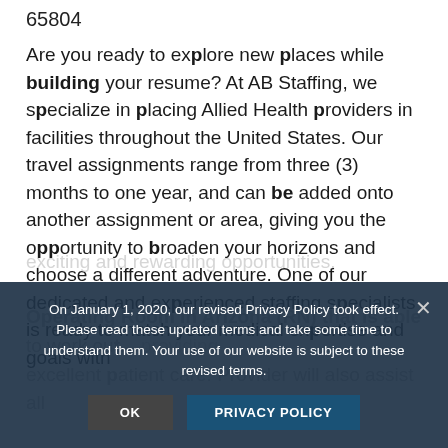65804
Are you ready to explore new places while building your resume? At AB Staffing, we specialize in placing Allied Health providers in facilities throughout the United States. Our travel assignments range from three (3) months to one year, and can be added onto another assignment or area, giving you the opportunity to broaden your horizons and choose a different adventure. One of our dedicated and experienced staffing specialists is ready to match your medical expertise and goals with exciting and rewarding opportunities.
Operating Room in Arizona (RN) that is able to work our... providing excellent patient care. Provider will also assist all...
On January 1, 2020, our revised Privacy Policy took effect. Please read these updated terms and take some time to understand them. Your use of our website is subject to these revised terms.